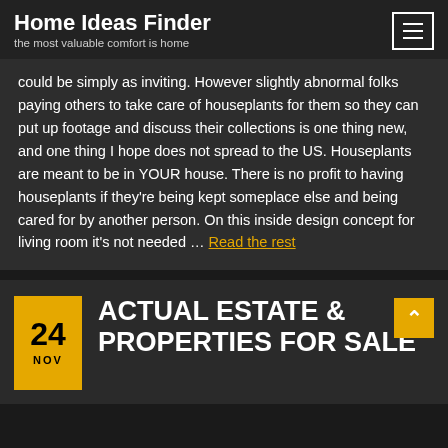Home Ideas Finder
the most valuable comfort is home
could be simply as inviting. However slightly abnormal folks paying others to take care of houseplants for them so they can put up footage and discuss their collections is one thing new, and one thing I hope does not spread to the US. Houseplants are meant to be in YOUR house. There is no profit to having houseplants if they're being kept someplace else and being cared for by another person. On this inside design concept for living room it's not needed … Read the rest
ACTUAL ESTATE & PROPERTIES FOR SALE
24 NOV